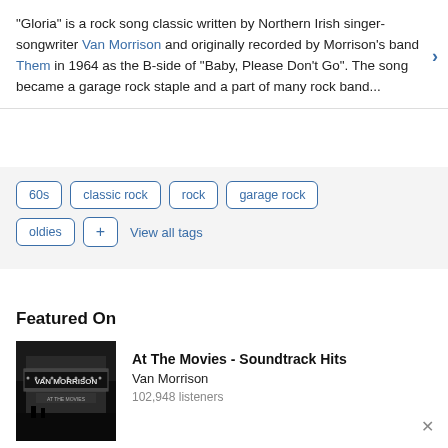"Gloria" is a rock song classic written by Northern Irish singer-songwriter Van Morrison and originally recorded by Morrison's band Them in 1964 as the B-side of "Baby, Please Don't Go". The song became a garage rock staple and a part of many rock band...
60s
classic rock
rock
garage rock
oldies
+ View all tags
Featured On
[Figure (photo): Black and white photo of a theater marquee showing 'Van Morrison']
At The Movies - Soundtrack Hits
Van Morrison
102,948 listeners